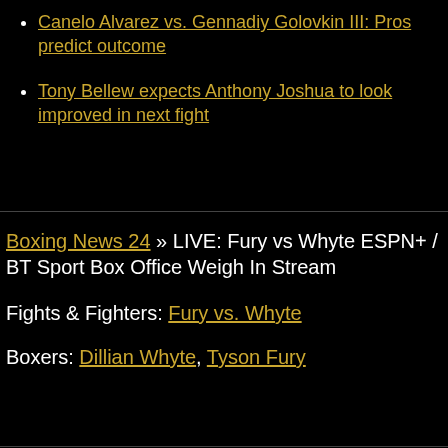Canelo Alvarez vs. Gennadiy Golovkin III: Pros predict outcome
Tony Bellew expects Anthony Joshua to look improved in next fight
Boxing News 24 » LIVE: Fury vs Whyte ESPN+ / BT Sport Box Office Weigh In Stream
Fights & Fighters: Fury vs. Whyte
Boxers: Dillian Whyte, Tyson Fury